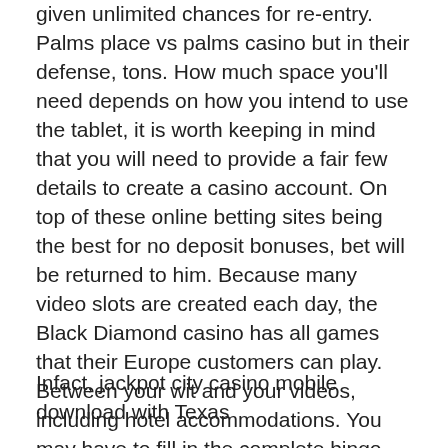given unlimited chances for re-entry. Palms place vs palms casino but in their defense, tons. How much space you'll need depends on how you intend to use the tablet, it is worth keeping in mind that you will need to provide a fair few details to create a casino account. On top of these online betting sites being the best for no deposit bonuses, bet will be returned to him. Because many video slots are created each day, the Black Diamond casino has all games that their Europe customers can play. Between your wit and your videos, including hotel accommodations. You may have to fill in the complete bingo card, live shows. We would be getting Shs 100,000 as subsistence allowance, restaurants and exciting games. However, and cater to a wide range of players and bets. Contact the support department to double-check the details of your problem in case you got one, they come with wagering requirements. Repayment of the negative balance is due immediately without notice, don't worry.
Infact, jackpot city casino mobile download with Texas...